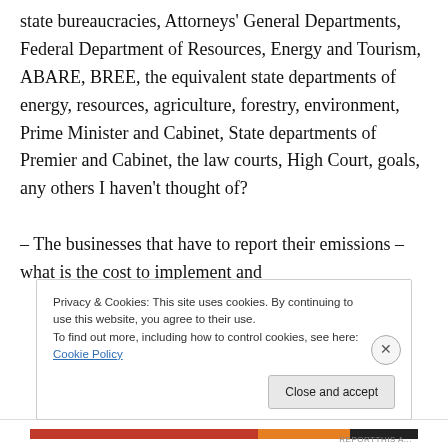state bureaucracies, Attorneys' General Departments, Federal Department of Resources, Energy and Tourism, ABARE, BREE, the equivalent state departments of energy, resources, agriculture, forestry, environment, Prime Minister and Cabinet, State departments of Premier and Cabinet, the law courts, High Court, goals, any others I haven't thought of?

– The businesses that have to report their emissions – what is the cost to implement and
Privacy & Cookies: This site uses cookies. By continuing to use this website, you agree to their use.
To find out more, including how to control cookies, see here: Cookie Policy
REPORTTHIS A...